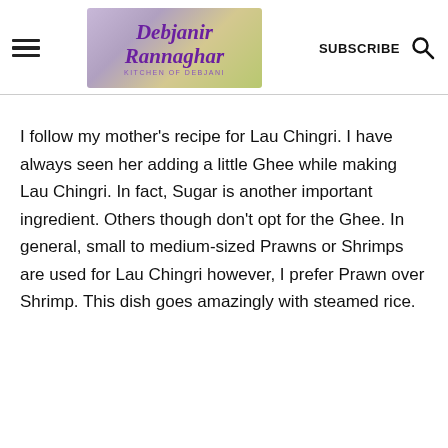Debjanir Rannaghar - KITCHEN OF DEBJANI | SUBSCRIBE
I follow my mother's recipe for Lau Chingri. I have always seen her adding a little Ghee while making Lau Chingri. In fact, Sugar is another important ingredient. Others though don't opt for the Ghee. In general, small to medium-sized Prawns or Shrimps are used for Lau Chingri however, I prefer Prawn over Shrimp. This dish goes amazingly with steamed rice.